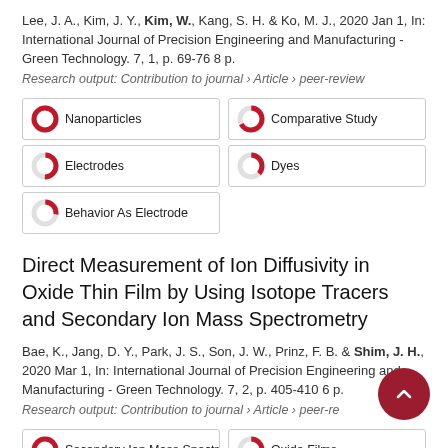Lee, J. A., Kim, J. Y., Kim, W., Kang, S. H. & Ko, M. J., 2020 Jan 1, In: International Journal of Precision Engineering and Manufacturing - Green Technology. 7, 1, p. 69-76 8 p.
Research output: Contribution to journal › Article › peer-review
Nanoparticles (100%)
Comparative Study (67%)
Electrodes (50%)
Dyes (37%)
Behavior As Electrode (27%)
Direct Measurement of Ion Diffusivity in Oxide Thin Film by Using Isotope Tracers and Secondary Ion Mass Spectrometry
Bae, K., Jang, D. Y., Park, J. S., Son, J. W., Prinz, F. B. & Shim, J. H., 2020 Mar 1, In: International Journal of Precision Engineering and Manufacturing - Green Technology. 7, 2, p. 405-410 6 p.
Research output: Contribution to journal › Article › peer-review
Secondary Ion Mass Spectrometry (100%)
Oxide Films (75%)